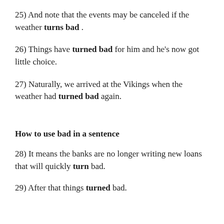25) And note that the events may be canceled if the weather turns bad .
26) Things have turned bad for him and he's now got little choice.
27) Naturally, we arrived at the Vikings when the weather had turned bad again.
How to use bad in a sentence
28) It means the banks are no longer writing new loans that will quickly turn bad.
29) After that things turned bad.